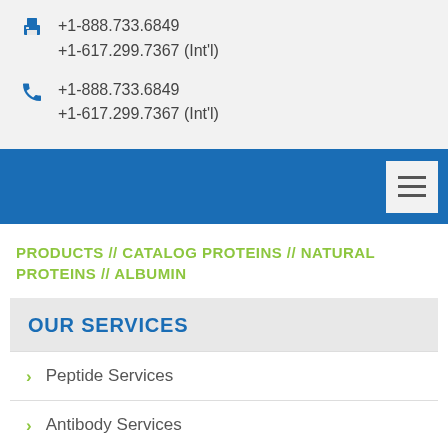+1-888.733.6849
+1-617.299.7367 (Int'l)
+1-888.733.6849
+1-617.299.7367 (Int'l)
PRODUCTS // CATALOG PROTEINS // NATURAL PROTEINS // ALBUMIN
OUR SERVICES
Peptide Services
Antibody Services
Protein Services
Molecular Biology